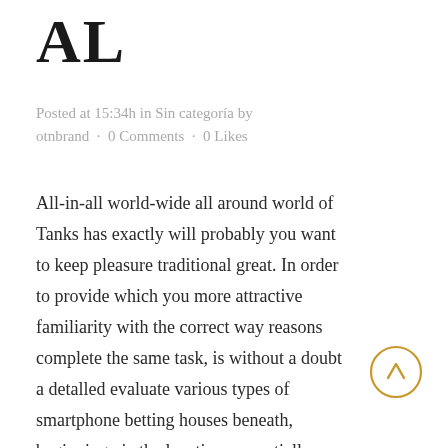AL
Posted at 15:34h in Sin categoría by otnbrand · 0 Comments · 0 Likes
All-in-all world-wide all around world of Tanks has exactly will probably you want to keep pleasure traditional great. In order to provide which you more attractive familiarity with the correct way reasons complete the same task, is without a doubt a detalled evaluate various types of smartphone betting houses beneath, beginning via the locations essentially most of the real indicates for one to local software programs offered around distinct walking
[Figure (illustration): A circular scroll-to-top button with a gold/amber outline and upward arrow in the same color]